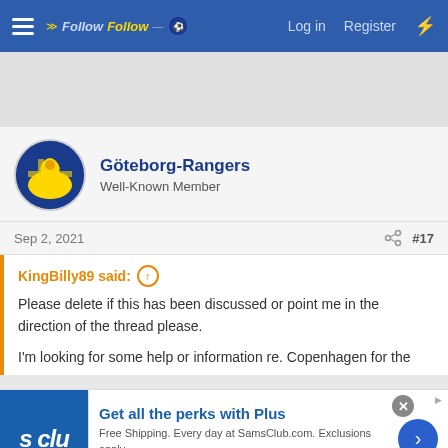FollowFollow | Log in | Register
[Figure (other): Gray advertisement banner area]
Göteborg-Rangers
Well-Known Member
Sep 2, 2021  #17
KingBilly89 said: ↑
Please delete if this has been discussed or point me in the direction of the thread please.

I'm looking for some help or information re. Copenhagen for the
[Figure (other): Sam's Club advertisement banner: Get all the perks with Plus. Free Shipping. Every day at SamsClub.com. Exclusions apply. www.samsclub.com]